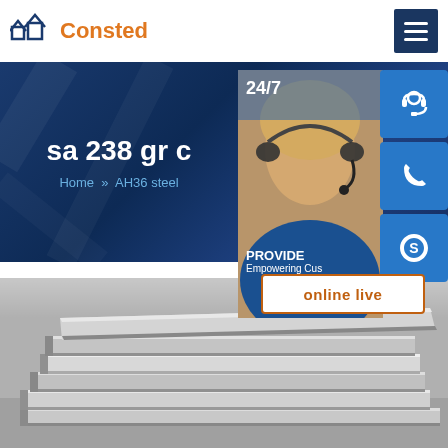Consted
sa 238 gr c
Home » AH36 steel
24/7
PROVIDE Empowering Customers
online live
[Figure (photo): Stacked steel plates/sheets, metallic grey finish, industrial setting]